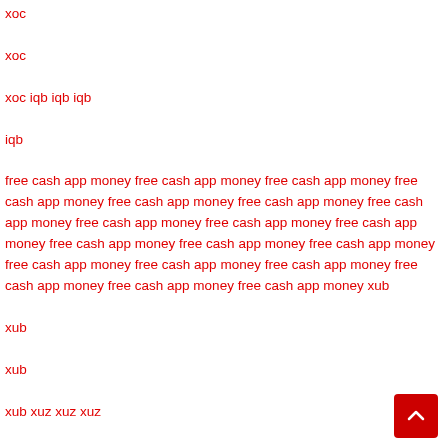xoc

xoc

xoc iqb iqb iqb

iqb

free cash app money free cash app money free cash app money free cash app money free cash app money free cash app money free cash app money free cash app money free cash app money free cash app money free cash app money free cash app money free cash app money free cash app money free cash app money free cash app money free cash app money free cash app money free cash app money xub

xub

xub

xub xuz xuz xuz